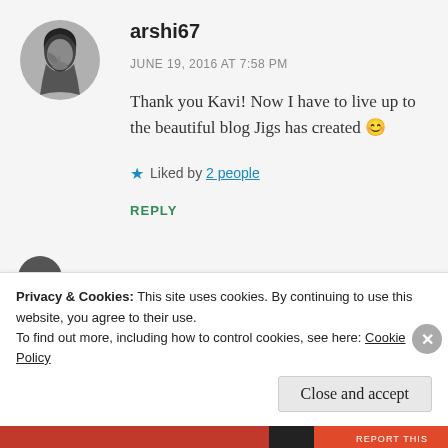[Figure (photo): Circular avatar photo of a man in black and white, looking downward]
arshi67
JUNE 19, 2016 AT 7:58 PM
Thank you Kavi! Now I have to live up to the beautiful blog Jigs has created 😊
★ Liked by 2 people
REPLY
Privacy & Cookies: This site uses cookies. By continuing to use this website, you agree to their use.
To find out more, including how to control cookies, see here: Cookie Policy
Close and accept